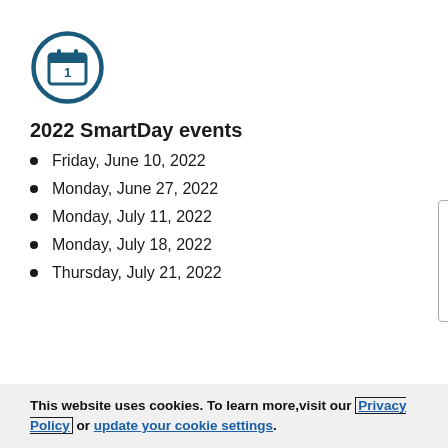[Figure (illustration): Calendar icon — a circle with a calendar symbol showing the number 1, in dark teal/blue color]
2022 SmartDay events
Friday, June 10, 2022
Monday, June 27, 2022
Monday, July 11, 2022
Monday, July 18, 2022
Thursday, July 21, 2022
This website uses cookies. To learn more, visit our Privacy Policy or update your cookie settings.